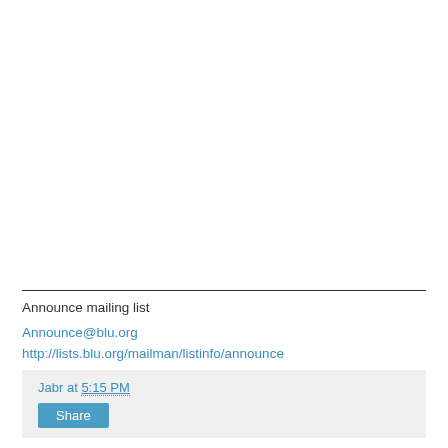Announce mailing list
Announce@blu.org
http://lists.blu.org/mailman/listinfo/announce
Jabr at 5:15 PM
Share